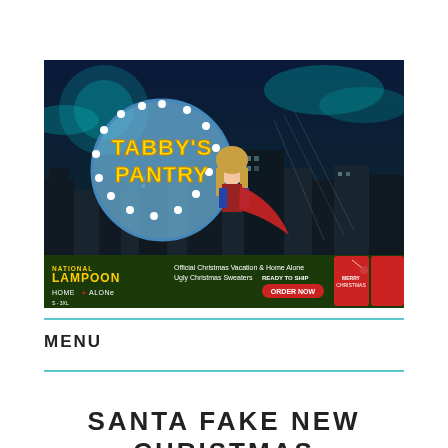[Figure (illustration): Tabby's Pantry banner image featuring a cartoon superhero woman with a red cape and long blonde hair standing in front of a night city skyline. A large circular marquee sign reads 'TABBY'S PANTRY' in yellow text. Below is a National Lampoon Home Alone advertisement for Official Christmas Vacation & Home Alone Ugly Christmas Sweaters, sizes S-3XL, Ready to Ship, Order Now.]
MENU
SANTA FAKE NEW CHRISTMAS